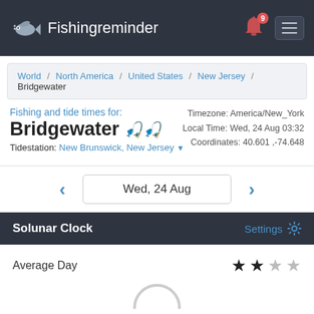Fishingreminder
World / North America / United States / New Jersey / Bridgewater
Fishing and tide times for:
Bridgewater
Timezone: America/New_York
Local Time: Wed, 24 Aug 03:32
Coordinates: 40.601 ,-74.648
Tidestation: New Brunswick, New Jersey
Wed, 24 Aug
Solunar Clock
Settings
Average Day
[Figure (other): 2 filled stars and 2 empty stars rating]